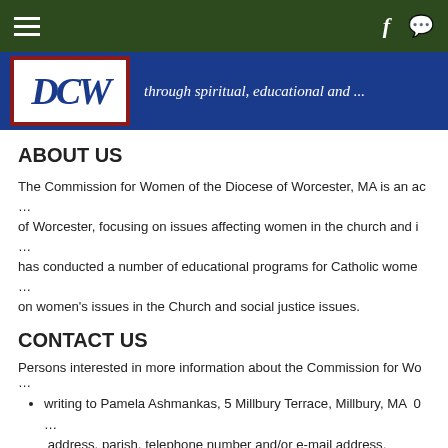Navigation bar with hamburger menu, Facebook icon, and chat icon
[Figure (illustration): Diocese/Commission for Women banner with logo and italic text: 'through spiritual, educational and...']
ABOUT US
The Commission for Women of the Diocese of Worcester, MA is an advisory board of the Diocese of Worcester, focusing on issues affecting women in the church and in the broader community. It has conducted a number of educational programs for Catholic women, featuring speakers on women's issues in the Church and social justice issues.
CONTACT US
Persons interested in more information about the Commission for Women may do so by:
writing to Pamela Ashmankas, 5 Millbury Terrace, Millbury, MA 0... address, parish, telephone number and/or e-mail address.
Sending an e-mail to worcestercommissionforwomen@gmail.co...
Going to our facebook page, Commission for Women of the Dioc...
JOIN THE COMMISSION